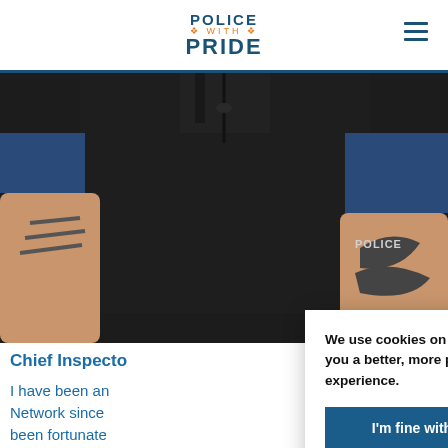POLICE WITH PRIDE
[Figure (photo): Close-up photo of a person wearing a black police polo shirt with 'POLICE' text on the arm. The person has visible tattoos on their forearms and arms are crossed.]
Chief Inspecto
I have been an Network since been fortunate but to work for an inclusive and supporting
We use cookies on this site to give you a better, more personalised experience.
I'm fine with cookies
I'd like to manage the cookies